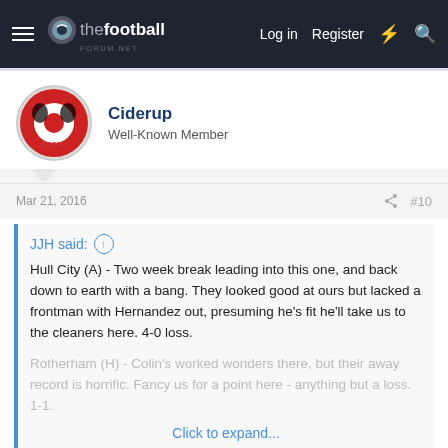thefootballforum.net — Log in  Register
[Figure (logo): thefootballforum.net logo with football icon]
Ciderup
Well-Known Member
Mar 21, 2016
#10
JJH said:
Hull City (A) - Two week break leading into this one, and back down to earth with a bang. They looked good at ours but lacked a frontman with Hernandez out, presuming he's fit he'll take us to the cleaners here. 4-0 loss.

Rotherham (H) - Colin's worked wonders there, but their away record is horrific. Fancy us for a point here - anything but a loss. 1-1.
Click to expand...
Not having that!